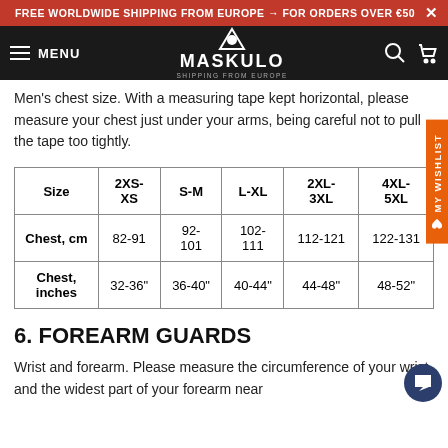FREE WORLDWIDE SHIPPING FROM EUROPE → FOR ORDERS OVER €50
[Figure (screenshot): Maskulo navigation bar with logo, menu, search and cart icons]
Men's chest size. With a measuring tape kept horizontal, please measure your chest just under your arms, being careful not to pull the tape too tightly.
| Size | 2XS-XS | S-M | L-XL | 2XL-3XL | 4XL-5XL |
| --- | --- | --- | --- | --- | --- |
| Chest, cm | 82-91 | 92-101 | 102-111 | 112-121 | 122-131 |
| Chest, inches | 32-36" | 36-40" | 40-44" | 44-48" | 48-52" |
6. FOREARM GUARDS
Wrist and forearm. Please measure the circumference of your wrist and the widest part of your forearm near